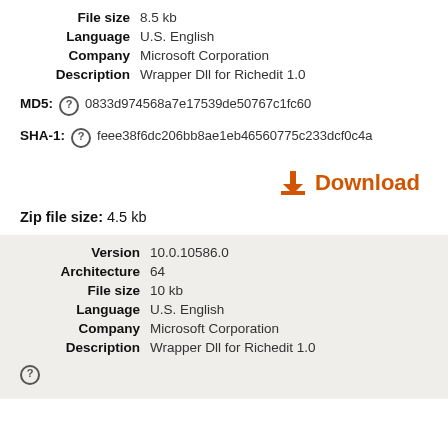File size   8.5 kb
Language   U.S. English
Company   Microsoft Corporation
Description   Wrapper Dll for Richedit 1.0
MD5:  0833d974568a7e17539de50767c1fc60
SHA-1:  feee38f6dc206bb8ae1eb46560775c233dcf0c4a
Download
Zip file size:  4.5 kb
Version   10.0.10586.0
Architecture   64
File size   10 kb
Language   U.S. English
Company   Microsoft Corporation
Description   Wrapper Dll for Richedit 1.0